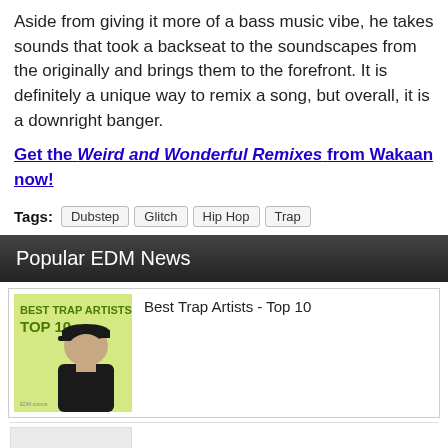Aside from giving it more of a bass music vibe, he takes sounds that took a backseat to the soundscapes from the originally and brings them to the forefront. It is definitely a unique way to remix a song, but overall, it is a downright banger.
Get the Weird and Wonderful Remixes from Wakaan now!
Tags: Dubstep  Glitch  Hip Hop  Trap
Popular EDM News
Best Trap Artists - Top 10
[Figure (photo): Thumbnail image for 'Best Trap Artists - Top 10' showing a person wearing a black cap and hoodie against a yellow-green background with text 'BEST TRAP ARTISTS TOP 10']